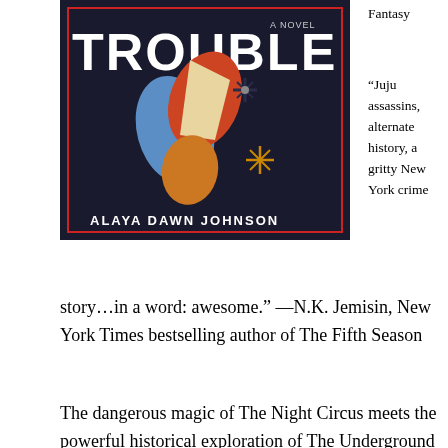[Figure (illustration): Book cover of 'Trouble' a novel by Alaya Dawn Johnson, dark background with colorful abstract figures, text 'A NOVEL' at top and author name at bottom]
Fantasy
“Juju assassins, alternate history, a gritty New York crime story…in a word: awesome.” —N.K. Jemisin, New York Times bestselling author of The Fifth Season
The dangerous magic of The Night Circus meets the powerful historical exploration of The Underground Railroad in Alaya Dawn Johnson’s